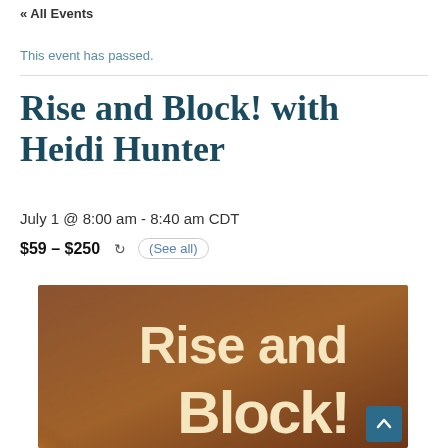« All Events
This event has passed.
Rise and Block! with Heidi Hunter
July 1 @ 8:00 am - 8:40 am CDT
$59 – $250  ↻ (See all)
[Figure (illustration): Promotional image with warm brown/orange gradient background and yellow sunburst on left, with large cream/beige bold text reading 'Rise and Block!' in the center-right area.]